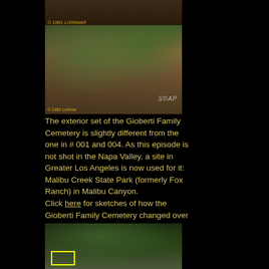[Figure (photo): Top partial photo with © 1981 LORIMAR copyright watermark, dark brownish scene]
[Figure (photo): Exterior set of the Gioberti Family Cemetery showing gravestones and iron fence, © 1982 LORIMAR, with SOAP watermark]
The exterior set of the Gioberti Family Cemetery is slightly different from the one in # 001 and 004. As this episode is not shot in the Napa Valley, a site in Greater Los Angeles is now used for it: Malibu Creek State Park (formerly Fox Ranch) in Malibu Canyon.
Click here for sketches of how the Gioberti Family Cemetery changed over the years.
[Figure (photo): Outdoor scene with dense trees/foliage, yellow rectangle highlight at bottom left]